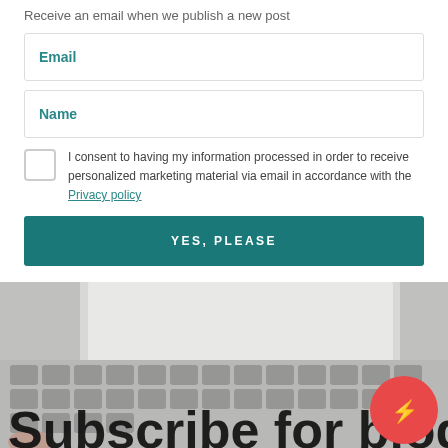Receive an email when we publish a new post
Email
Name
I consent to having my information processed in order to receive personalized marketing material via email in accordance with the Privacy policy
YES, PLEASE
[Figure (photo): Person typing on a laptop keyboard, partially visible, light gray tone]
Subscribe for blog